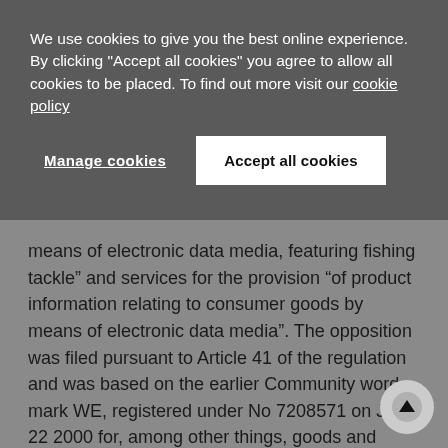We use cookies to give you the best online experience. By clicking "Accept all cookies" you agree to allow all cookies to be placed. To find out more visit our cookie policy
Manage cookies
Accept all cookies
means of electronic data media, featuring fishing tackle” and services for the provision “of product information relating to consumer goods by means of electronic data media”. The opposition was filed pursuant to Article 41 of the regulation and was based on the earlier Community word mark WE, registered under No 7208571 on June 22 2000 for, among other things, goods and services in Classes 25 and 35 and corresponding to the